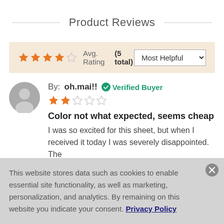Product Reviews
★★★★☆ Avg. Rating (5 total) — Most Helpful
By: oh.mai!! ✔ Verified Buyer ★★☆☆☆
Color not what expected, seems cheap
I was so excited for this sheet, but when I received it today I was severely disappointed. The
This website stores data such as cookies to enable essential site functionality, as well as marketing, personalization, and analytics. By remaining on this website you indicate your consent. Privacy Policy